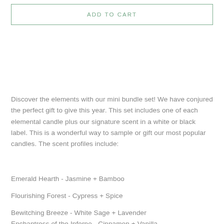ADD TO CART
Discover the elements with our mini bundle set! We have conjured the perfect gift to give this year. This set includes one of each elemental candle plus our signature scent in a white or black label. This is a wonderful way to sample or gift our most popular candles. The scent profiles include:
Emerald Hearth - Jasmine + Bamboo
Flourishing Forest - Cypress + Spice
Bewitching Breeze - White Sage + Lavender
Enchantress of the Inferno - Cinnamon + Vanilla